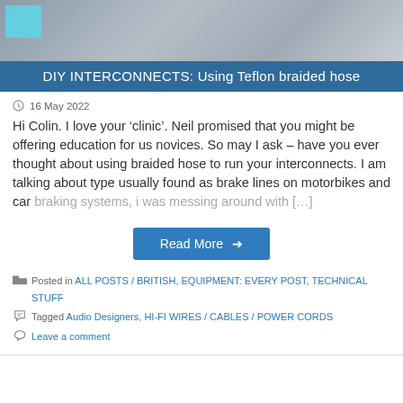[Figure (photo): Banner photo showing a blurred dark background with a cyan/teal colored block visible at top left]
DIY INTERCONNECTS: Using Teflon braided hose
16 May 2022
Hi Colin. I love your ‘clinic’. Neil promised that you might be offering education for us novices. So may I ask – have you ever thought about using braided hose to run your interconnects. I am talking about type usually found as brake lines on motorbikes and car braking systems, i was messing around with […]
Read More ➜
Posted in ALL POSTS / BRITISH, EQUIPMENT: EVERY POST, TECHNICAL STUFF
Tagged Audio Designers, HI-FI WIRES / CABLES / POWER CORDS
Leave a comment